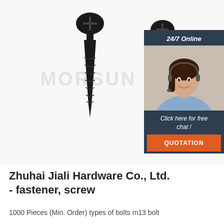[Figure (photo): Two black drywall screws side by side on white background, with a watermark reading MORSUN in light gray. An overlay chat widget is in the top right corner showing a customer service representative with headset, labeled '24/7 Online', 'Click here for free chat!', and a QUOTATION button.]
Zhuhai Jiali Hardware Co., Ltd. - fastener, screw
1000 Pieces (Min. Order) types of bolts m13 bolt